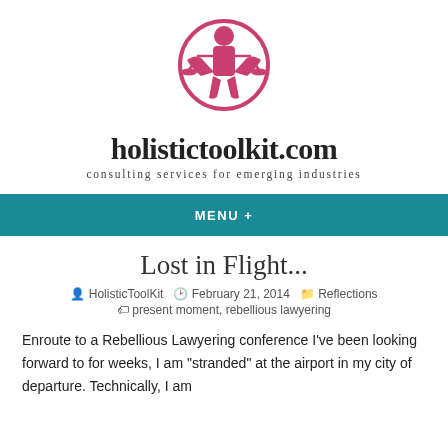[Figure (logo): Pink/crimson icon of a person holding scales of justice, representing holistictoolkit.com logo]
holistictoolkit.com
consulting services for emerging industries
MENU +
Lost in Flight...
HolisticToolKit   February 21, 2014   Reflections
present moment, rebellious lawyering
Enroute to a Rebellious Lawyering conference I've been looking forward to for weeks, I am "stranded" at the airport in my city of departure. Technically, I am